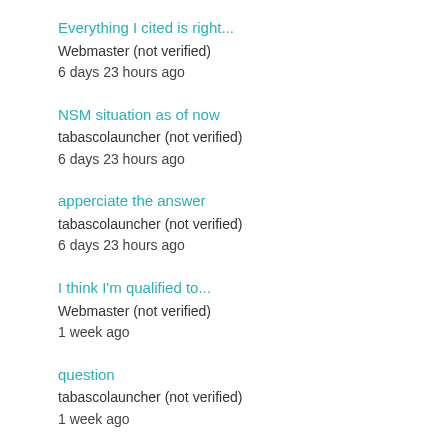Everything I cited is right...
Webmaster (not verified)
6 days 23 hours ago
NSM situation as of now
tabascolauncher (not verified)
6 days 23 hours ago
apperciate the answer
tabascolauncher (not verified)
6 days 23 hours ago
I think I'm qualified to...
Webmaster (not verified)
1 week ago
question
tabascolauncher (not verified)
1 week ago
Daniel Burnside